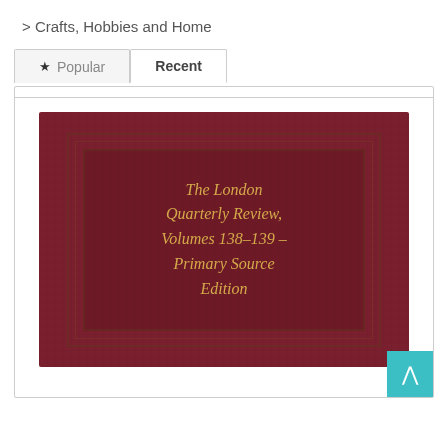> Crafts, Hobbies and Home
> Parenting and Relationships
[Figure (screenshot): A tabbed panel showing Popular and Recent tabs (Recent is active). Below is a book cover image for 'The London Quarterly Review, Volumes 138-139 – Primary Source Edition' with a dark red background and gold text.]